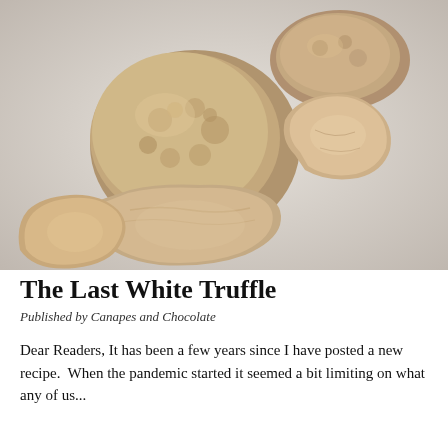[Figure (photo): Close-up photograph of white truffles on a light grey/white background. One whole truffle is visible along with several thin shaved truffle slices spread around it.]
The Last White Truffle
Published by Canapes and Chocolate
Dear Readers, It has been a few years since I have posted a new recipe.  When the pandemic started it seemed a bit limiting on what any of us...